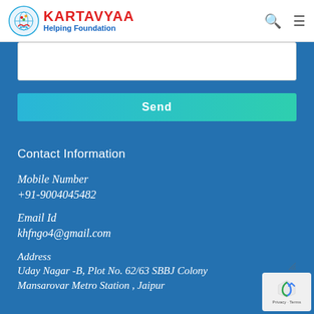[Figure (logo): Kartavyaa Helping Foundation logo with globe and hands icon, red bold title KARTAVYAA, blue subtitle Helping Foundation]
[Figure (screenshot): Text input textarea (message field) with resize handle, white background on blue page]
Send
Contact Information
Mobile Number
+91-9004045482
Email Id
khfngo4@gmail.com
Address
Uday Nagar -B, Plot No. 62/63 SBBJ Colony
Mansarovar Metro Station , Jaipur
[Figure (logo): reCAPTCHA privacy badge with arrow icon, Privacy - Terms text]